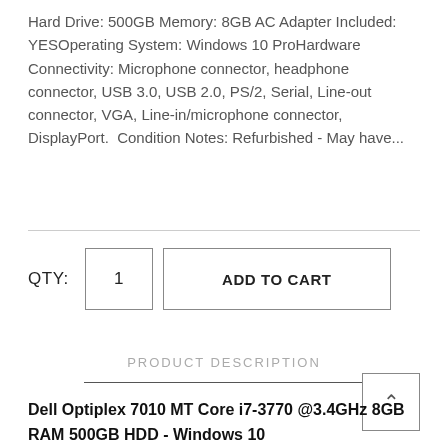Hard Drive: 500GB Memory: 8GB AC Adapter Included: YESOperating System: Windows 10 ProHardware Connectivity: Microphone connector, headphone connector, USB 3.0, USB 2.0, PS/2, Serial, Line-out connector, VGA, Line-in/microphone connector, DisplayPort.  Condition Notes: Refurbished - May have...
QTY:  1  ADD TO CART
PRODUCT DESCRIPTION
Dell Optiplex 7010 MT Core i7-3770 @3.4GHz 8GB RAM 500GB HDD - Windows 10